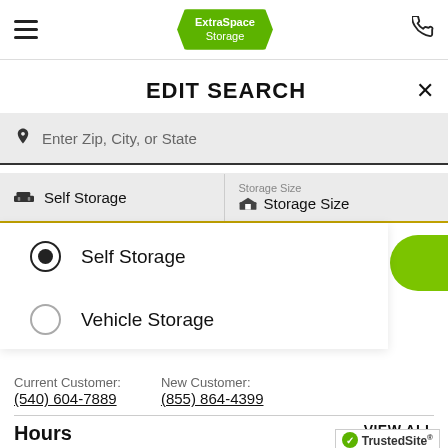[Figure (logo): Extra Space Storage logo in green hexagonal badge in mobile website header with hamburger menu and phone icon]
EDIT SEARCH
Enter Zip, City, or State
Self Storage | Storage Size / Storage Size
Self Storage (selected radio button)
Vehicle Storage (unselected radio button)
Current Customer: (540) 604-7889
New Customer: (855) 864-4399
Hours
VIEW ALL
[Figure (logo): TrustedSite badge with green checkmark]